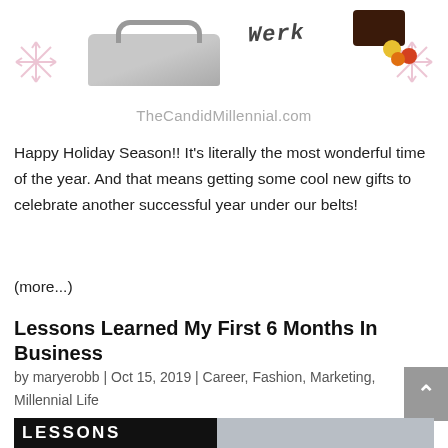[Figure (photo): Top portion of a holiday gift guide blog post image featuring a grey duffel bag, script text 'Werk', a dark chocolate box with candy, snowflake decorations, and the URL TheCandidMillennial.com]
Happy Holiday Season!! It's literally the most wonderful time of the year. And that means getting some cool new gifts to celebrate another successful year under our belts!
(more...)
Lessons Learned My First 6 Months In Business
by maryerobb | Oct 15, 2019 | Career, Fashion, Marketing, Millennial Life
[Figure (photo): Blog post featured image showing a woman with long brown hair in a dark outfit with white collar, with a black overlay graphic showing 'LESSONS LEARNED' in large white bold letters]